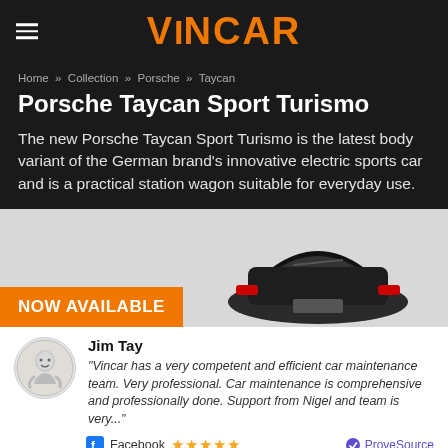VINCAR
Home » Collection » Porsche » Taycan
Porsche Taycan Sport Turismo
The new Porsche Taycan Sport Turismo is the latest body variant of the German brand's innovative electric sports car and is a practical station wagon suitable for everyday use.
[Figure (photo): Porsche Taycan Sport Turismo vehicle photo on grey background with orange NOW AVAILABLE badge]
Jim Tay
"Vincar has a very competent and efficient car maintenance team. Very professional. Car maintenance is comprehensive and professionally done. Support from Nigel and team is very..."
Facebook ★★★★★ ProveSource